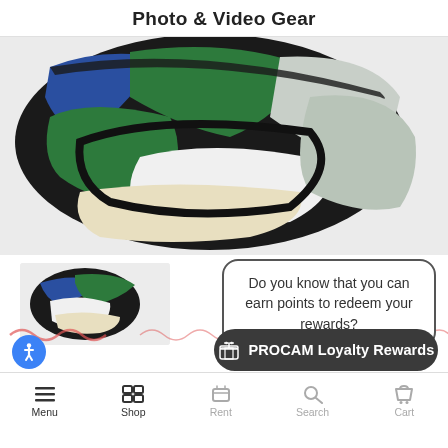Photo & Video Gear
[Figure (photo): Close-up of a collapsible photography reflector disc partially open, showing multiple colored panels: blue, green, silver/metallic, white, and beige/cream, with a thick black padded edge/zipper border. Background is light gray.]
[Figure (screenshot): Chat bubble popup saying 'Do you know that you can earn points to redeem your rewards?' overlaying a website screenshot with a small product thumbnail and red squiggly lines. Below the bubble is a dark rounded button with a gift icon labeled 'PROCAM Loyalty Rewards'. Bottom navigation bar shows Menu, Shop, Rent, Search, Cart. Blue accessibility icon in bottom left.]
Do you know that you can earn points to redeem your rewards?
PROCAM Loyalty Rewards